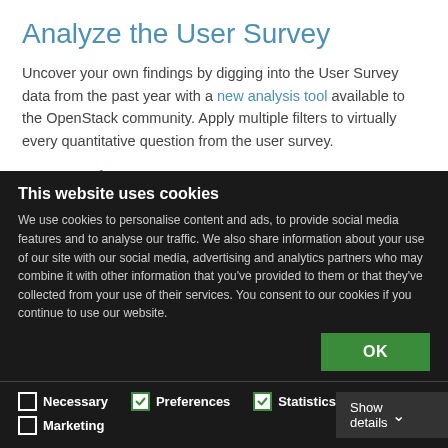Analyze the User Survey
Uncover your own findings by digging into the User Survey data from the past year with a new analysis tool available to the OpenStack community. Apply multiple filters to virtually every quantitative question from the user survey.
See prior survey reports
Learn more about past User Survey data to see how
This website uses cookies
We use cookies to personalise content and ads, to provide social media features and to analyse our traffic. We also share information about your use of our site with our social media, advertising and analytics partners who may combine it with other information that you've provided to them or that they've collected from your use of their services. You consent to our cookies if you continue to use our website.
OK
Necessary  Preferences  Statistics  Marketing  Show details